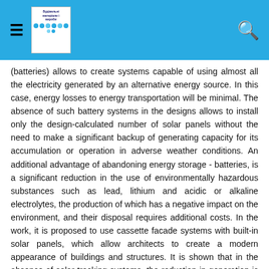[Navigation bar with hamburger menu, journal thumbnail, and search icon]
(batteries) allows to create systems capable of using almost all the electricity generated by an alternative energy source. In this case, energy losses to energy transportation will be minimal. The absence of such battery systems in the designs allows to install only the design-calculated number of solar panels without the need to make a significant backup of generating capacity for its accumulation or operation in adverse weather conditions. An additional advantage of abandoning energy storage - batteries, is a significant reduction in the use of environmentally hazardous substances such as lead, lithium and acidic or alkaline electrolytes, the production of which has a negative impact on the environment, and their disposal requires additional costs. In the work, it is proposed to use cassette facade systems with built-in solar panels, which allow architects to create a modern appearance of buildings and structures. It is shown that in the absence of solar tracking systems, the reduction in generation is 23% for the case of horizontal expansion of solar panels compared to the case of the optimal angle (for Kyiv 40°) and 40% for the case of vertical installation of solar panels. The analysis